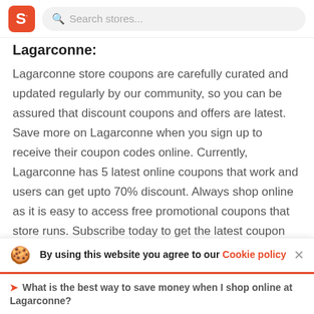S  Search stores...
Lagarconne:
Lagarconne store coupons are carefully curated and updated regularly by our community, so you can be assured that discount coupons and offers are latest. Save more on Lagarconne when you sign up to receive their coupon codes online. Currently, Lagarconne has 5 latest online coupons that work and users can get upto 70% discount. Always shop online as it is easy to access free promotional coupons that store runs. Subscribe today to get the latest coupon
By using this website you agree to our Cookie policy
What is the best way to save money when I shop online at Lagarconne?